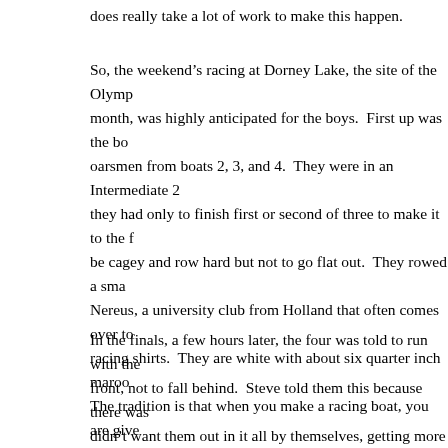does really take a lot of work to make this happen.
So, the weekend’s racing at Dorney Lake, the site of the Olymp... month, was highly anticipated for the boys. First up was the bo... oarsmen from boats 2, 3, and 4. They were in an Intermediate 2... they had only to finish first or second of three to make it to the f... be cagey and row hard but not to go flat out. They rowed a sma... Nereus, a university club from Holland that often comes over to... racing shirts. They are white with about six quarter inch maroo... The tradition is that when you make a racing boat, you are give... sew on by yourself. They are somewhat irregular looking, depe... needle and thread, but tradition dictates that you must do it your... mothers, most notably Mrs. Harwood, Ms. Haberkorn, Ray Dum... sew on our blazer patches. Thanks to all of them.) To be close... how our four has come together.
In the finals, a few hours later, the four was told to run with the... front, not to fall behind. Steve told them this because there was... didn’t want them out in it all by themselves, getting more buffe...